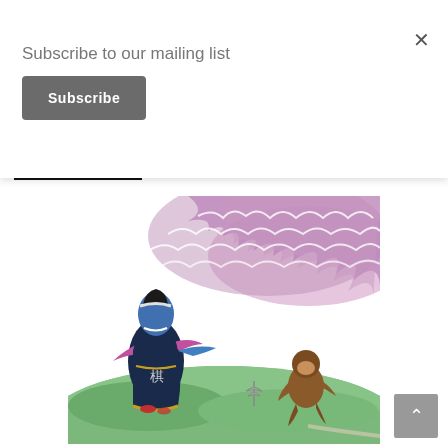Subscribe to our mailing list
Subscribe
[Figure (illustration): Watercolor illustration showing a blue-faced figure in dark robes with pink sleeves reaching out with one hand, standing on a green grassy hill. A small monkey-like creature runs on the right side. The background features dramatic purple and pink storm clouds or waves.]
×